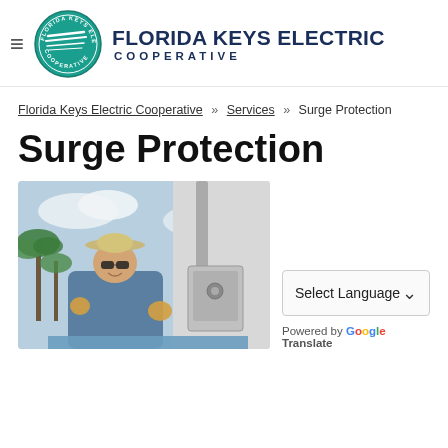Florida Keys Electric Cooperative — site header with logo and hamburger menu
Florida Keys Electric Cooperative » Services » Surge Protection
Surge Protection
[Figure (photo): Electric utility worker in hat, sunglasses, and blue uniform working on electrical meter/service equipment on side of building, with palm trees in background]
Select Language
Powered by Google Translate